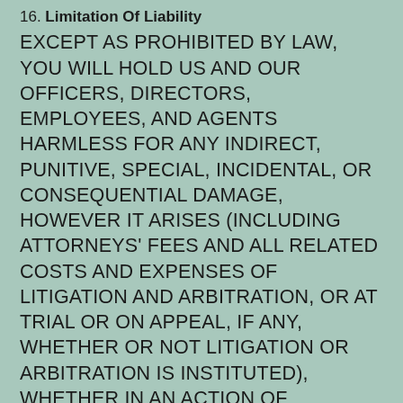16. Limitation Of Liability
EXCEPT AS PROHIBITED BY LAW, YOU WILL HOLD US AND OUR OFFICERS, DIRECTORS, EMPLOYEES, AND AGENTS HARMLESS FOR ANY INDIRECT, PUNITIVE, SPECIAL, INCIDENTAL, OR CONSEQUENTIAL DAMAGE, HOWEVER IT ARISES (INCLUDING ATTORNEYS' FEES AND ALL RELATED COSTS AND EXPENSES OF LITIGATION AND ARBITRATION, OR AT TRIAL OR ON APPEAL, IF ANY, WHETHER OR NOT LITIGATION OR ARBITRATION IS INSTITUTED), WHETHER IN AN ACTION OF CONTRACT, NEGLIGENCE, OR OTHER TORTIOUS ACTION, OR ARISING OUT OF OR IN